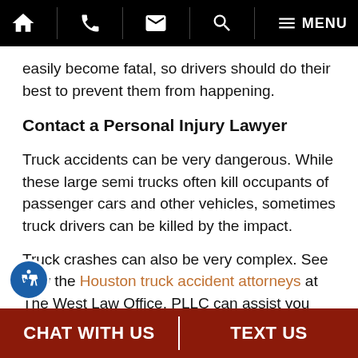Navigation bar with home, phone, email, search, and menu icons
easily become fatal, so drivers should do their best to prevent them from happening.
Contact a Personal Injury Lawyer
Truck accidents can be very dangerous. While these large semi trucks often kill occupants of passenger cars and other vehicles, sometimes truck drivers can be killed by the impact.
Truck crashes can also be very complex. See how the Houston truck accident attorneys at The West Law Office, PLLC can assist you with your case and gather evidence so you get the most compensation possible.
CHAT WITH US | TEXT US